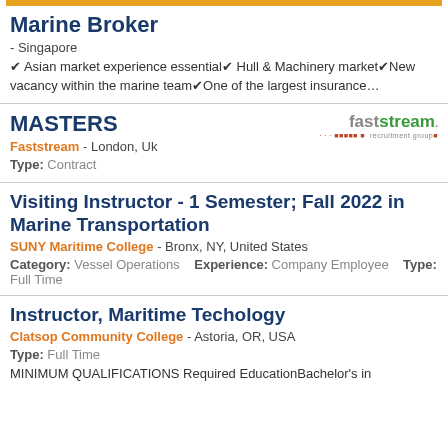Marine Broker
- Singapore
✔ Asian market experience essential✔ Hull & Machinery market✔New vacancy within the marine team✔One of the largest insurance…
MASTERS
Faststream - London, Uk
Type: Contract
[Figure (logo): Faststream recruitment group logo]
Visiting Instructor - 1 Semester; Fall 2022 in Marine Transportation
SUNY Maritime College - Bronx, NY, United States
Category: Vessel Operations   Experience: Company Employee   Type: Full Time
Instructor, Maritime Techology
Clatsop Community College - Astoria, OR, USA
Type: Full Time
MINIMUM QUALIFICATIONS Required EducationBachelor's in